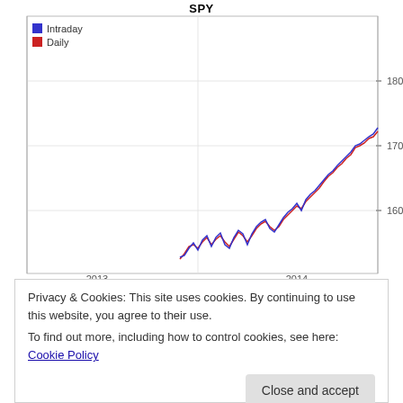[Figure (continuous-plot): Line chart showing SPY ETF price from 2013 to 2014. Two series: Intraday (blue) and Daily (red). Price ranges from approximately 155 to 190+. General upward trend from ~155 in mid-2013 to ~190+ in early 2014. Y-axis shows values 160, 170, 180.]
Privacy & Cookies: This site uses cookies. By continuing to use this website, you agree to their use.
To find out more, including how to control cookies, see here: Cookie Policy
Close and accept